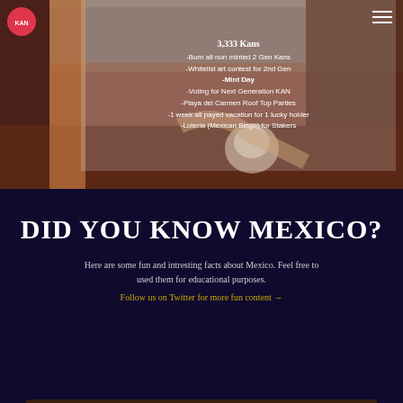[Figure (illustration): Top section with illustrated background showing a stylized Mexican art scene with warm brown/terracotta tones. A logo circle is in top left and a hamburger menu icon is in top right.]
3,333 Kans
-Burn all non minted 2 Gen Kans
-Whitelist art contest for 2nd Gen
-Mint Day
-Voting for Next Generation KAN
-Playa del Carmen Roof Top Parties
-1 week all payed vacation for 1 lucky holder
-Lotería (Mexican Bingo) for Stakers
DID YOU KNOW MEXICO?
Here are some fun and intresting facts about Mexico. Feel free to used them for educational purposes.
Follow us on Twitter for more fun content →